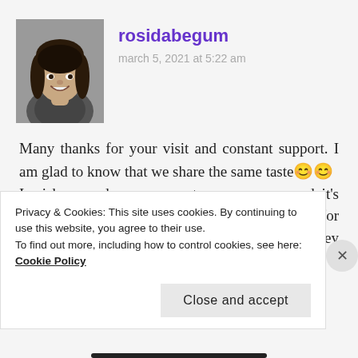[Figure (photo): Black and white profile photo of a woman smiling]
rosidabegum
march 5, 2021 at 5:22 am
Many thanks for your visit and constant support. I am glad to know that we share the same taste😊😊
I wish your dream comes true very soon and it's great that you have a big library..wow. I want it for me and my children. As a gift for them. Wish they will continue to nurture the
Privacy & Cookies: This site uses cookies. By continuing to use this website, you agree to their use.
To find out more, including how to control cookies, see here: Cookie Policy
Close and accept